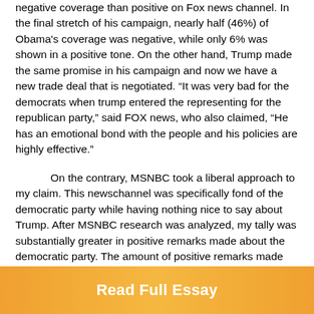negative coverage than positive on Fox news channel. In the final stretch of his campaign, nearly half (46%) of Obama's coverage was negative, while only 6% was shown in a positive tone. On the other hand, Trump made the same promise in his campaign and now we have a new trade deal that is negotiated. “It was very bad for the democrats when trump entered the representing for the republican party,” said FOX news, who also claimed, “He has an emotional bond with the people and his policies are highly effective.”
On the contrary, MSNBC took a liberal approach to my claim. This newschannel was specifically fond of the democratic party while having nothing nice to say about Trump. After MSNBC research was analyzed, my tally was substantially greater in positive remarks made about the democratic party. The amount of positive remarks made towards the republican party came to a total of 1 while negative remarks included 3. On the other hand, numbers for the democratic party consisted of 4 positive
Read Full Essay